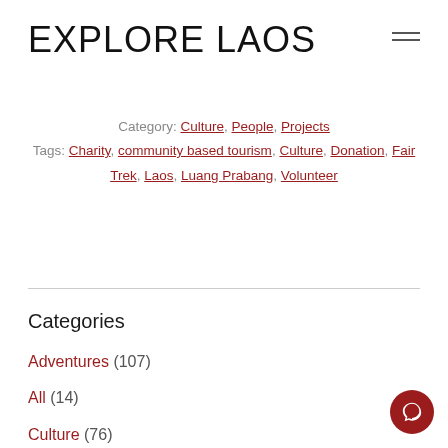EXPLORE LAOS
Category: Culture, People, Projects
Tags: Charity, community based tourism, Culture, Donation, Fair Trek, Laos, Luang Prabang, Volunteer
Categories
Adventures (107)
All (14)
Culture (76)